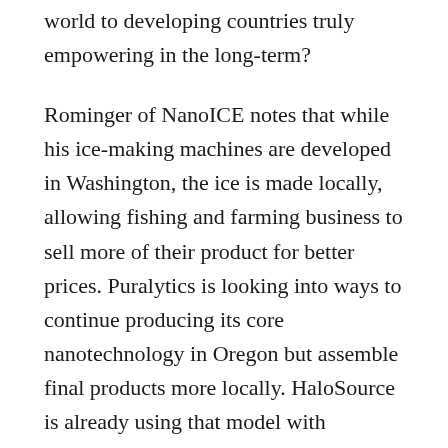world to developing countries truly empowering in the long-term?
Rominger of NanoICE notes that while his ice-making machines are developed in Washington, the ice is made locally, allowing fishing and farming business to sell more of their product for better prices. Puralytics is looking into ways to continue producing its core nanotechnology in Oregon but assemble final products more locally. HaloSource is already using that model with business partners such as Eureka Forbes of India.
Eureka Forbes is piloting a microfinance system to make HaloSource’s filters affordable for more customers. In that way, the companies partner much as PATH and Cascade do, with one focused on technology